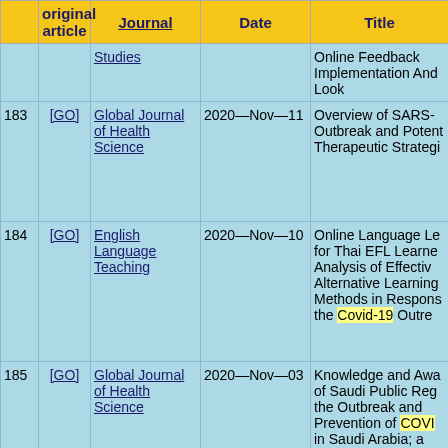|  | original article | Journal | Date | Title |
| --- | --- | --- | --- | --- |
|  |  | Studies |  | Online Feedback Implementation And Look |
| 183 | [GO] | Global Journal of Health Science | 2020—Nov—11 | Overview of SARS- Outbreak and Potential Therapeutic Strategi... |
| 184 | [GO] | English Language Teaching | 2020—Nov—10 | Online Language Le... for Thai EFL Learners... Analysis of Effective... Alternative Learning... Methods in Response... the Covid-19 Outbreak |
| 185 | [GO] | Global Journal of Health Science | 2020—Nov—03 | Knowledge and Awa... of Saudi Public Reg... the Outbreak and Prevention of COVID... in Saudi Arabia; a Questionnaire-Based... |
| 186 | [GO] | Global Journal of Health | 2020—Oct—31 | Lessons from Yemen Diphtheria and Polic... |